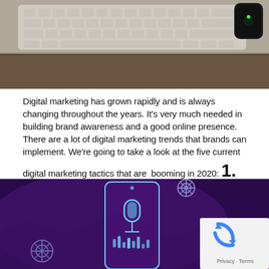[Figure (photo): Photo of a computer keyboard and smartwatch on a wooden desk surface, viewed from above.]
Digital marketing has grown rapidly and is always changing throughout the years. It’s very much needed in building brand awareness and a good online presence. There are a lot of digital marketing trends that brands can implement. We’re going to take a look at the five current digital marketing tactics that are  booming in 2020:
1. Vamp up your Voice Search
[Figure (illustration): Purple-background illustration of a smartphone with a microphone icon indicating voice search, with sound waves and gear/settings icons around it. A reCAPTCHA privacy badge is overlaid in the bottom-right corner.]